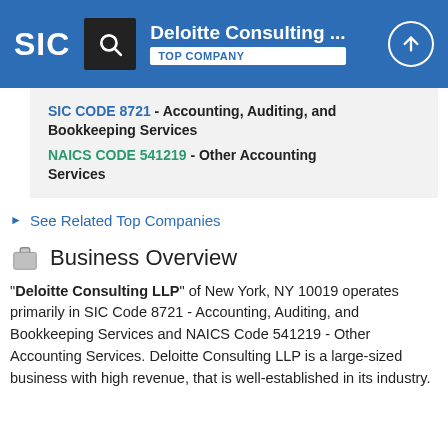Deloitte Consulting ... TOP COMPANY
SIC CODE 8721 - Accounting, Auditing, and Bookkeeping Services
NAICS CODE 541219 - Other Accounting Services
See Related Top Companies
Business Overview
"Deloitte Consulting LLP" of New York, NY 10019 operates primarily in SIC Code 8721 - Accounting, Auditing, and Bookkeeping Services and NAICS Code 541219 - Other Accounting Services. Deloitte Consulting LLP is a large-sized business with high revenue, that is well-established in its industry.